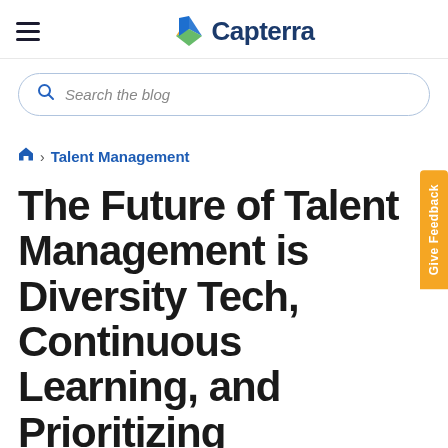Capterra
Search the blog
Home > Talent Management
The Future of Talent Management is Diversity Tech, Continuous Learning, and Prioritizing